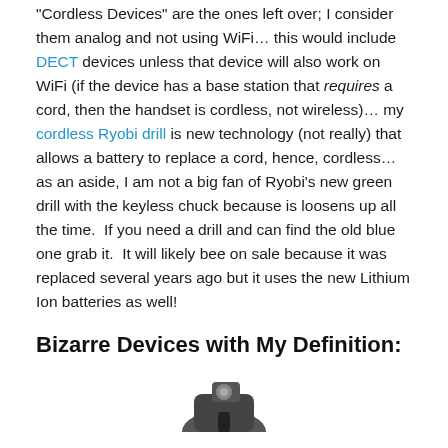"Cordless Devices" are the ones left over; I consider them analog and not using WiFi… this would include DECT devices unless that device will also work on WiFi (if the device has a base station that requires a cord, then the handset is cordless, not wireless)… my cordless Ryobi drill is new technology (not really) that allows a battery to replace a cord, hence, cordless… as an aside, I am not a big fan of Ryobi's new green drill with the keyless chuck because is loosens up all the time.  If you need a drill and can find the old blue one grab it.  It will likely bee on sale because it was replaced several years ago but it uses the new Lithium Ion batteries as well!
Bizarre Devices with My Definition:
[Figure (photo): Partial image of a cordless drill at bottom of page, cut off]